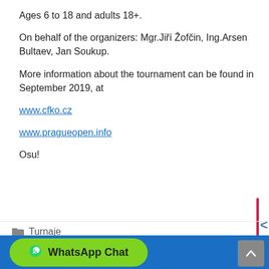Ages 6 to 18 and adults 18+.
On behalf of the organizers: Mgr.Jiří Žofčin, Ing.Arsen Bultaev, Jan Soukup.
More information about the tournament can be found in September 2019, at
www.cfko.cz
www.pragueopen.info
Osu!
Turnaje
< Nábor
> Karate Camp 2019 Chorvatsko
WhatsApp Chat